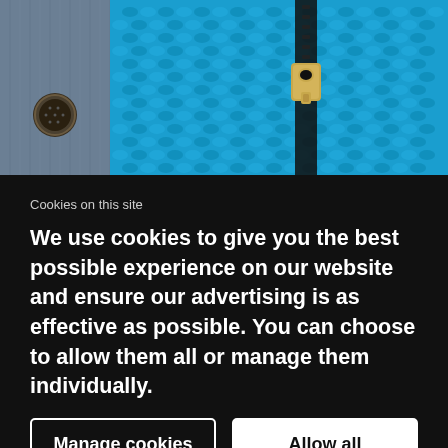[Figure (photo): Close-up photo of blue/teal knitted fabric with a zipper pull and a denim section with a metal button on the left side.]
Cookies on this site
We use cookies to give you the best possible experience on our website and ensure our advertising is as effective as possible. You can choose to allow them all or manage them individually.
Manage cookies
Allow all